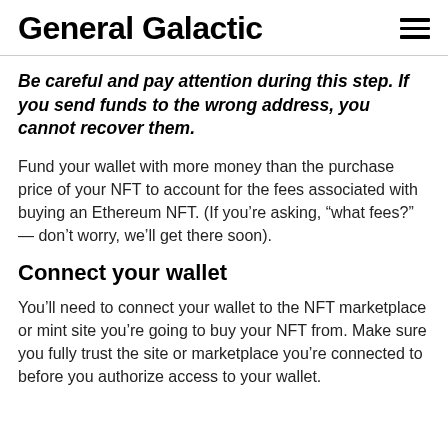General Galactic
Be careful and pay attention during this step. If you send funds to the wrong address, you cannot recover them.
Fund your wallet with more money than the purchase price of your NFT to account for the fees associated with buying an Ethereum NFT. (If you’re asking, “what fees?” — don’t worry, we’ll get there soon).
Connect your wallet
You’ll need to connect your wallet to the NFT marketplace or mint site you’re going to buy your NFT from. Make sure you fully trust the site or marketplace you’re connected to before you authorize access to your wallet.